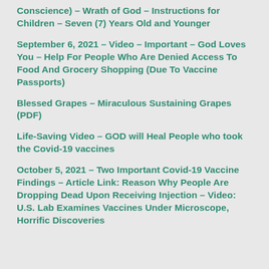Conscience) – Wrath of God – Instructions for Children – Seven (7) Years Old and Younger
September 6, 2021 – Video – Important – God Loves You – Help For People Who Are Denied Access To Food And Grocery Shopping (Due To Vaccine Passports)
Blessed Grapes – Miraculous Sustaining Grapes (PDF)
Life-Saving Video – GOD will Heal People who took the Covid-19 vaccines
October 5, 2021 – Two Important Covid-19 Vaccine Findings – Article Link: Reason Why People Are Dropping Dead Upon Receiving Injection – Video: U.S. Lab Examines Vaccines Under Microscope, Horrific Discoveries